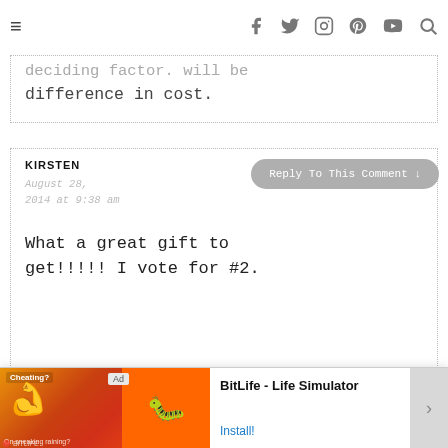≡ [social icons: facebook, twitter, instagram, pinterest, youtube, search]
deciding factor. Will be difference in cost.
KIRSTEN
August 28, 2014 at 9:38 am
What a great gift to get!!!!! I vote for #2.
DANIELLA
[Figure (screenshot): Ad banner: BitLife - Life Simulator with Install button]